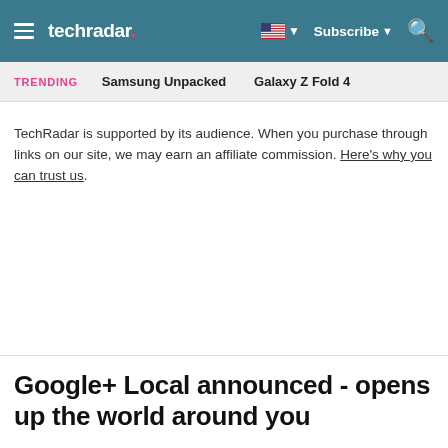techradar — Subscribe
TRENDING   Samsung Unpacked   Galaxy Z Fold 4
TechRadar is supported by its audience. When you purchase through links on our site, we may earn an affiliate commission. Here's why you can trust us.
Google+ Local announced - opens up the world around you